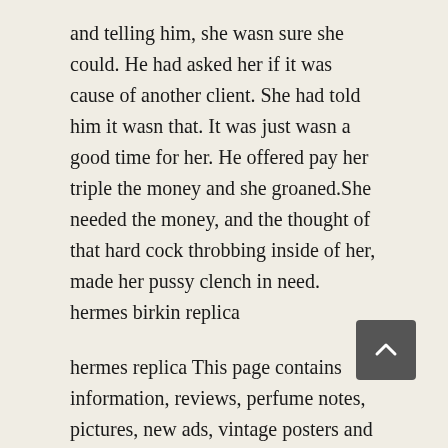and telling him, she wasn sure she could. He had asked her if it was cause of another client. She had told him it wasn that. It was just wasn a good time for her. He offered pay her triple the money and she groaned.She needed the money, and the thought of that hard cock throbbing inside of her, made her pussy clench in need. hermes birkin replica
hermes replica This page contains information, reviews, perfume notes, pictures, new ads, vintage posters and videos about Chloe See by Chloe Si Belle fragrance but we do not warrant the accuracy of information. Trademarks and logos belong to respected companies and manufacturers and are used solely to identify products and companies. If you have more information about Chloe See by Chloe Si Belle, you can expand it by adding a personal perfume review. Fragrantica has a unique user driven classification system and you may classify See by Chloe Si Belle by Chloe. Click on the appropriate options on the fragrance classification form below the perfume picture. Also, you can find links to 3rd party